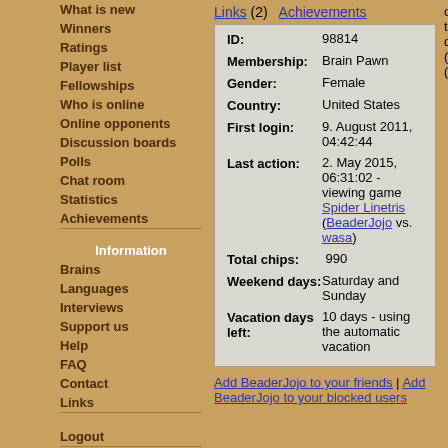What is new
Winners
Ratings
Player list
Fellowships
Who is online
Online opponents
Discussion boards
Polls
Chat room
Statistics
Achievements
Information
Brains
Languages
Interviews
Support us
Help
FAQ
Contact
Links
Logout
Links (2)  Achievements
| Field | Value |
| --- | --- |
| ID: | 98814 |
| Membership: | Brain Pawn |
| Gender: | Female |
| Country: | United States |
| First login: | 9. August 2011, 04:42:44 |
| Last action: | 2. May 2015, 06:31:02 - viewing game Spider Linetris (BeaderJojo vs. wasa) |
| Total chips: | 990 |
| Weekend days: | Saturday and Sunday |
| Vacation days left: | 10 days - using the automatic vacation |
Add BeaderJojo to your friends | Add BeaderJojo to your blocked users
opponent tournament discussion (HelenaT (show all